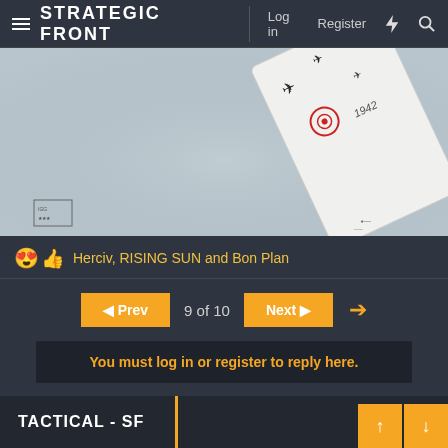STRATEGIC FRONT — Log in  Register
[Figure (photo): Close-up photo of a board game piece or tile showing aircraft silhouettes and a target symbol on a light grey misty background]
😍 👍 Herciv, RISING SUN and Bon Plan
◄ Prev  9 of 10  Next ►  →
You must log in or register to reply here.
Share:
TACTICAL - SF